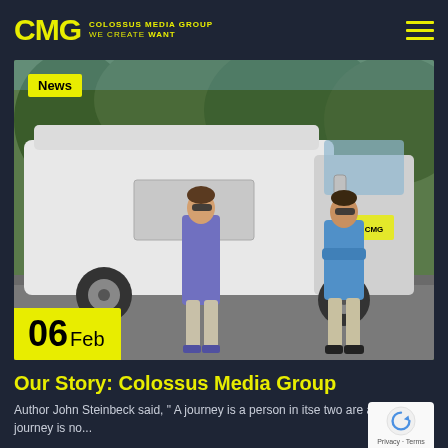[Figure (logo): CMG Colossus Media Group logo with yellow text on dark background]
[Figure (photo): Two young men in sunglasses standing in front of a large white cargo van on a driveway surrounded by trees. One wears a purple polo, the other a blue polo. A yellow '06 Feb' date badge overlays the bottom-left corner. A 'News' badge is in the top-left corner.]
Our Story: Colossus Media Group
Author John Steinbeck said, " A journey is a person in itse two are alike." Our journey is no...